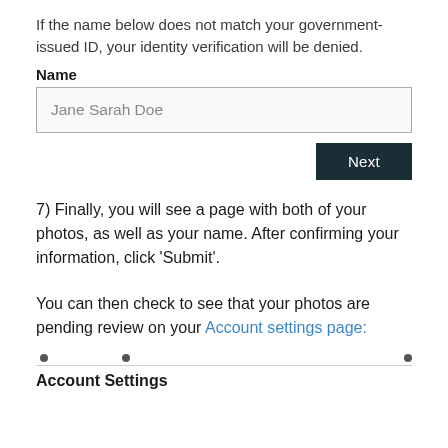If the name below does not match your government-issued ID, your identity verification will be denied.
Name
Jane Sarah Doe
Next
7) Finally, you will see a page with both of your photos, as well as your name. After confirming your information, click 'Submit'.
You can then check to see that your photos are pending review on your Account settings page:
Account Settings